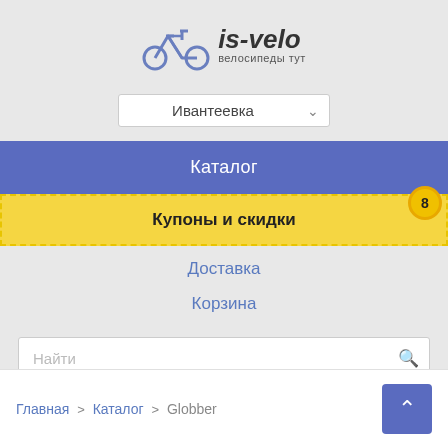[Figure (logo): is-velo bicycle shop logo with bike icon and text 'is-velo велосипеды тут']
Ивантеевка
Каталог
Купоны и скидки
Доставка
Корзина
Найти
Главная > Каталог > Globber